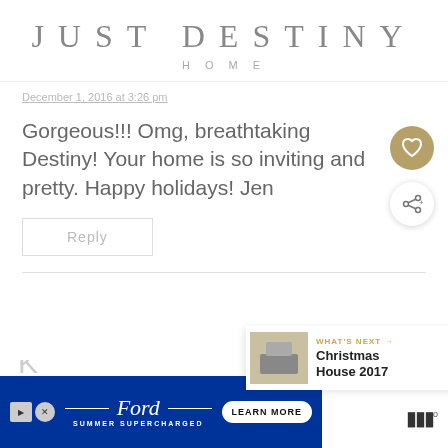JUST DESTINY HOME
December 1, 2016 at 3:26 pm
Gorgeous!!! Omg, breathtaking Destiny! Your home is so inviting and pretty. Happy holidays! Jen
Reply
[Figure (infographic): WHAT'S NEXT arrow banner showing Christmas House 2017 with a small thumbnail image]
K
[Figure (infographic): Ford Summer Supercharged advertisement banner with Learn More button]